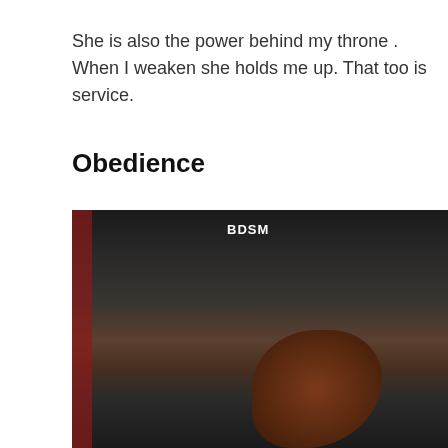She is also the power behind my throne . When I weaken she holds me up. That too is service.
Obedience
[Figure (photo): Outdoor crowd scene with people dressed in black, one person wearing a black t-shirt with 'BDSM' text, another person with long reddish-brown hair bowing forward, a person wearing a grey hat with a small rainbow flag visible at bottom right.]